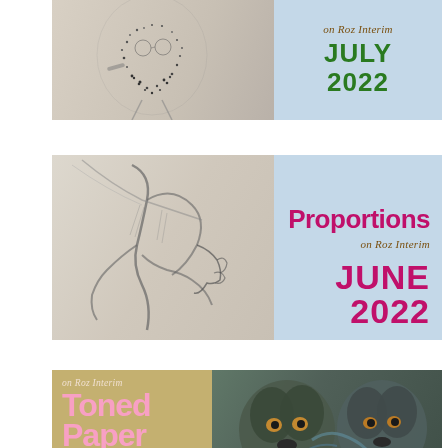[Figure (illustration): Top banner showing a pencil/dot sketch of a bearded man's face on the left, with text 'on Roz Interim' and 'JULY 2022' on a light blue background on the right]
[Figure (illustration): Middle banner showing a charcoal figure drawing of human torso/hands on the left, with text 'Proportions', 'on Roz Interim', 'JUNE 2022' on a light blue background on the right]
[Figure (illustration): Bottom banner showing a toned paper background with text 'on Roz Interim', 'Toned Paper', 'MAY' on the left and a painted portrait of two dogs on the right]